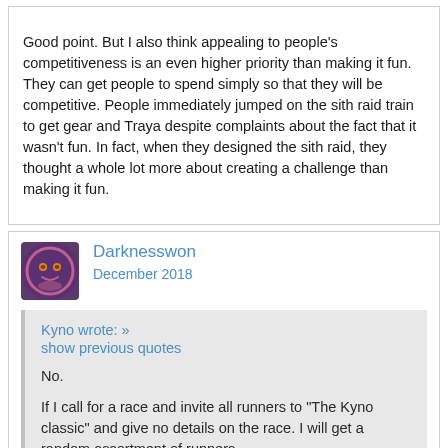Good point. But I also think appealing to people's competitiveness is an even higher priority than making it fun. They can get people to spend simply so that they will be competitive. People immediately jumped on the sith raid train to get gear and Traya despite complaints about the fact that it wasn't fun. In fact, when they designed the sith raid, they thought a whole lot more about creating a challenge than making it fun.
Darknesswon
December 2018
Kyno wrote: »
show previous quotes
No.

If I call for a race and invite all runners to "The Kyno classic" and give no details on the race. I will get a random assortment of runners.